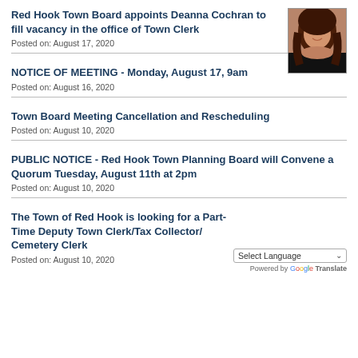Red Hook Town Board appoints Deanna Cochran to fill vacancy in the office of Town Clerk
Posted on: August 17, 2020
[Figure (photo): Headshot photo of Deanna Cochran, a woman with long brown hair and glasses, smiling]
NOTICE OF MEETING - Monday, August 17, 9am
Posted on: August 16, 2020
Town Board Meeting Cancellation and Rescheduling
Posted on: August 10, 2020
PUBLIC NOTICE - Red Hook Town Planning Board will Convene a Quorum Tuesday, August 11th at 2pm
Posted on: August 10, 2020
The Town of Red Hook is looking for a Part-Time Deputy Town Clerk/Tax Collector/ Cemetery Clerk
Posted on: August 10, 2020